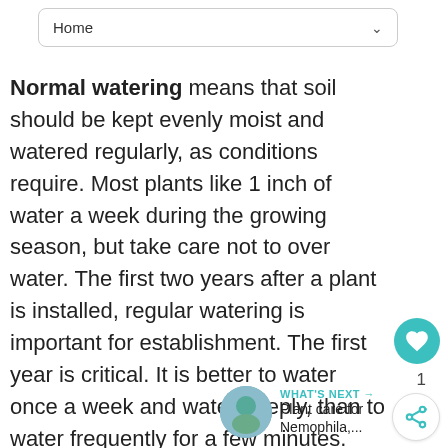Home
Normal watering means that soil should be kept evenly moist and watered regularly, as conditions require. Most plants like 1 inch of water a week during the growing season, but take care not to over water. The first two years after a plant is installed, regular watering is important for establishment. The first year is critical. It is better to water once a week and water deeply, than to water frequently for a few minutes.
1
WHAT'S NEXT → Plant care for Nemophila,...